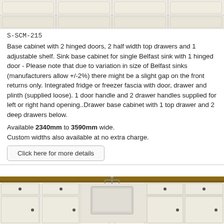[Figure (illustration): Top portion of a kitchen base cabinet unit with cream/off-white finish showing upper drawers and lower open shelf sections across multiple compartments.]
S-SCM-215
Base cabinet with 2 hinged doors, 2 half width top drawers and 1 adjustable shelf. Sink base cabinet for single Belfast sink with 1 hinged door - Please note that due to variation in size of Belfast sinks (manufacturers allow +/-2%) there might be a slight gap on the front returns only. Integrated fridge or freezer fascia with door, drawer and plinth (supplied loose). 1 door handle and 2 drawer handles supplied for left or right hand opening..Drawer base cabinet with 1 top drawer and 2 deep drawers below.
Available 2340mm to 3590mm wide.
Custom widths also available at no extra charge.
Click here for more details
[Figure (illustration): Bottom portion of a kitchen base cabinet unit with cream/off-white finish and a wooden worktop, showing drawers and doors with black knob handles, and a Belfast sink with tap in the center section.]